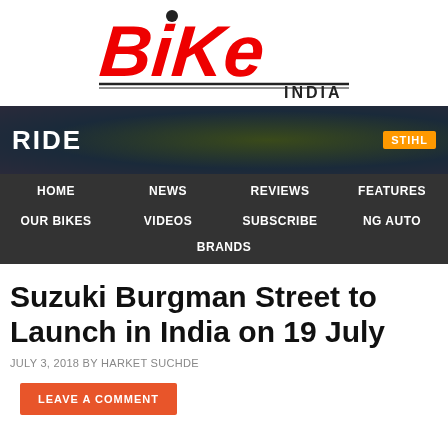[Figure (logo): Bike India magazine logo in red italic text with INDIA written below in smaller black text]
[Figure (infographic): RIDE banner with dark plaid/tartan background and STIHL orange badge on the right]
[Figure (infographic): Navigation bar with dark background containing menu items: HOME, NEWS, REVIEWS, FEATURES, OUR BIKES, VIDEOS, SUBSCRIBE, NG AUTO, BRANDS]
Suzuki Burgman Street to Launch in India on 19 July
JULY 3, 2018 BY HARKET SUCHDE
LEAVE A COMMENT